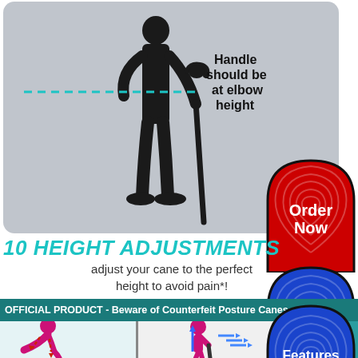[Figure (illustration): Grey rounded rectangle background with a black silhouette of a person standing and holding a cane. A teal dashed horizontal line indicates elbow height. Text reads 'Handle should be at elbow height'.]
Handle should be at elbow height
[Figure (infographic): Red arch-shaped button with fingerprint pattern and text 'Order Now']
10 HEIGHT ADJUSTMENTS
adjust your cane to the perfect height to avoid pain*!
[Figure (infographic): Blue arch-shaped button with fingerprint pattern and text 'Watch The Show']
OFFICIAL PRODUCT - Beware of Counterfeit Posture Canes
[Figure (illustration): Bottom section showing a person bent over (bad posture) on the left, a person with arrow indicators showing improved posture in the center, and a teal panel with partial text on the right.]
[Figure (infographic): Blue arch-shaped button with fingerprint pattern and text 'Features & Benefits']